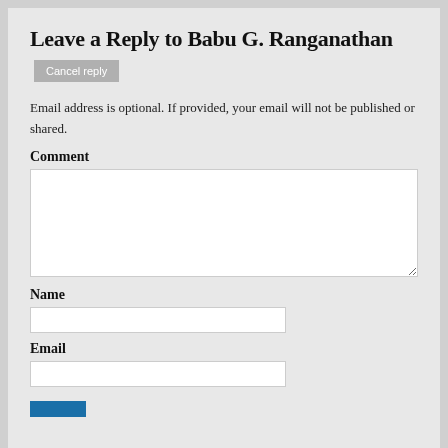Leave a Reply to Babu G. Ranganathan
Cancel reply
Email address is optional. If provided, your email will not be published or shared.
Comment
Name
Email